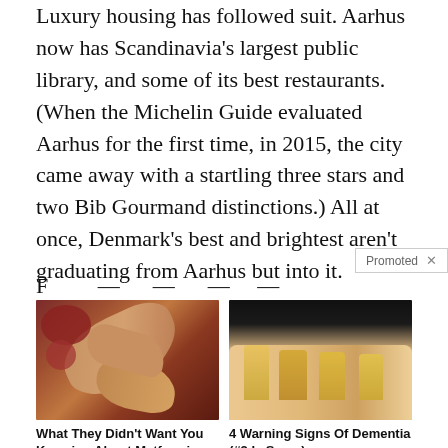Luxury housing has followed suit. Aarhus now has Scandinavia's largest public library, and some of its best restaurants. (When the Michelin Guide evaluated Aarhus for the first time, in 2015, the city came away with a startling three stars and two Bib Gourmand distinctions.) All at once, Denmark's best and brightest aren't graduating from Aarhus but into it.
Promoted X
[Figure (photo): Close-up medical/biological image showing reddish-brown organic tissue]
What They Didn't Want You Knowing About Metformin
🔥 211,085
[Figure (photo): Close-up of fingernails on a dark background showing yellowed/thickened nails]
4 Warning Signs Of Dementia (#2 Is Scary)
🔥 14,385